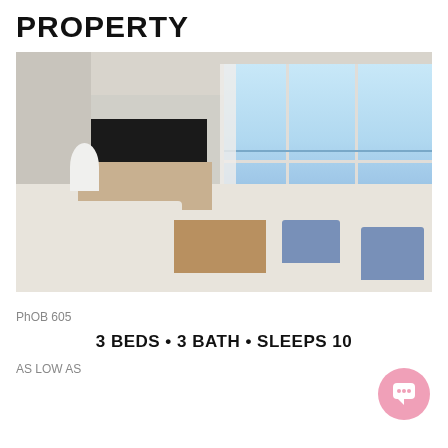PROPERTY
[Figure (photo): Interior photo of a beachfront condo living room with large floor-to-ceiling windows showing ocean view, white sofa, wood dresser, wall-mounted TV, blue armchairs, wicker ottoman coffee table, and balcony]
PhOB 605
3 BEDS • 3 BATH • SLEEPS 10
AS LOW AS